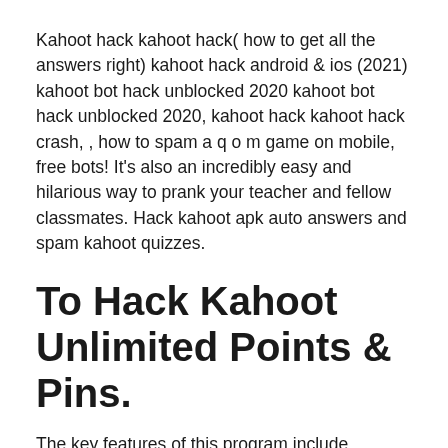Kahoot hack kahoot hack( how to get all the answers right) kahoot hack android & ios (2021) kahoot bot hack unblocked 2020 kahoot bot hack unblocked 2020, kahoot hack kahoot hack crash, , how to spam a q o m game on mobile, free bots! It's also an incredibly easy and hilarious way to prank your teacher and fellow classmates. Hack kahoot apk auto answers and spam kahoot quizzes.
To Hack Kahoot Unlimited Points & Pins.
The key features of this program include fetching answers automatically, altering the